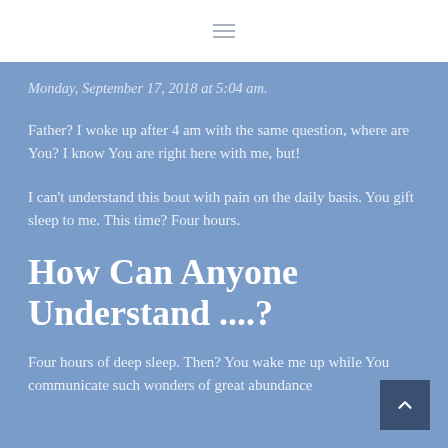Monday, September 17, 2018 at 5:04 am.
Father? I woke up after 4 am with the same question, where are You? I know You are right here with me, but!
I can't understand this bout with pain on the daily basis. You gift sleep to me. This time? Four hours.
How Can Anyone Understand ....?
Four hours of deep sleep. Then? You wake me up while You communicate such wonders of great abundance